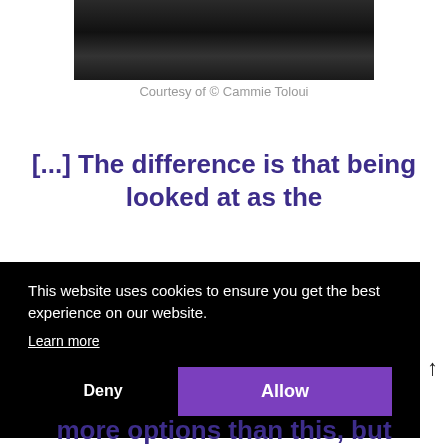[Figure (photo): Black and white photograph partially visible at top of page]
Courtesy of © Cammie Toloui
[...] The difference is that being looked at as the
This website uses cookies to ensure you get the best experience on our website.
Learn more
Deny
Allow
more options than this, but